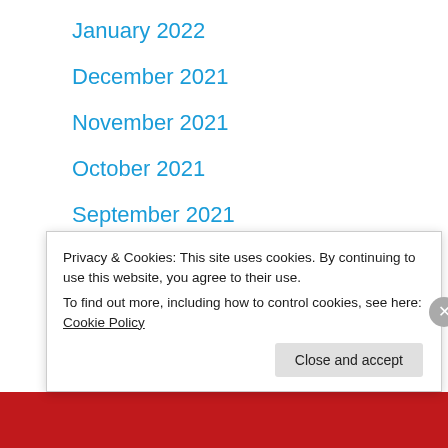January 2022
December 2021
November 2021
October 2021
September 2021
August 2021
July 2021
June 2021
May 2021
April 2021
Privacy & Cookies: This site uses cookies. By continuing to use this website, you agree to their use.
To find out more, including how to control cookies, see here: Cookie Policy
Close and accept